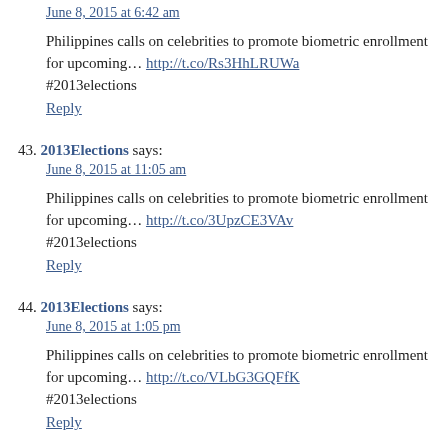June 8, 2015 at 6:42 am (link at top)
Philippines calls on celebrities to promote biometric enrollment for upcoming... http://t.co/Rs3HhLRUWa #2013elections
Reply
43. 2013Elections says:
June 8, 2015 at 11:05 am
Philippines calls on celebrities to promote biometric enrollment for upcoming... http://t.co/3UpzCE3VAv #2013elections
Reply
44. 2013Elections says:
June 8, 2015 at 1:05 pm
Philippines calls on celebrities to promote biometric enrollment for upcoming... http://t.co/VLbG3GQFfK #2013elections
Reply